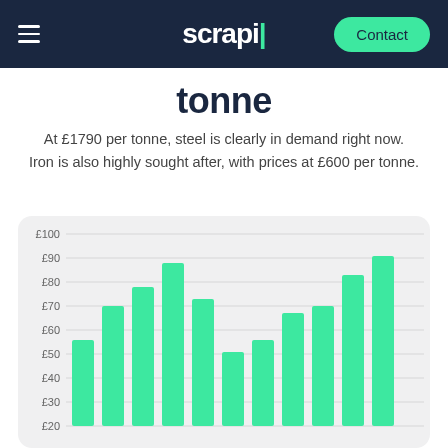scrapl — Contact
tonne
At £1790 per tonne, steel is clearly in demand right now. Iron is also highly sought after, with prices at £600 per tonne.
[Figure (bar-chart): Price per tonne]